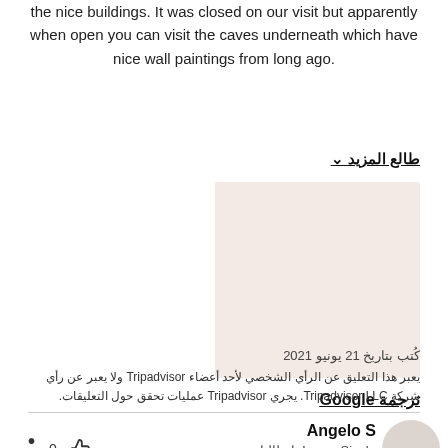the nice buildings. It was closed on our visit but apparently when open you can visit the caves underneath which have nice wall paintings from long ago.
طالع المزيد ∨
[Figure (photo): A thumbnail image placeholder with a light pinkish-beige background]
ترجمة Google
كُتب بتاريخ 21 يونيو 2021
يعبر هذا التعليق عن الرأي الشخصي لأحد أعضاء Tripadvisor ولا يعبر عن رأي شركة Tripadvisor LLC. يجري Tripadvisor عمليات تحقق حول التعليقات.
Angelo S
Lucca Sicula، إيطاليا
35 مساهمة